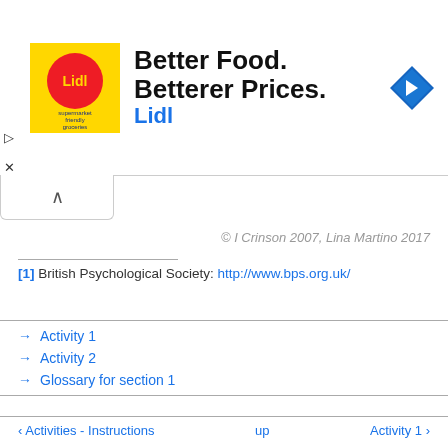[Figure (other): Lidl advertisement banner: 'Better Food. Betterer Prices. Lidl' with Lidl logo and a blue navigation arrow icon]
© I Crinson 2007, Lina Martino 2017
[1] British Psychological Society: http://www.bps.org.uk/
→ Activity 1
→ Activity 2
→ Glossary for section 1
‹ Activities - Instructions    up    Activity 1 ›